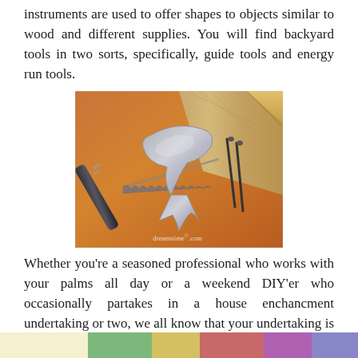instruments are used to offer shapes to objects similar to wood and different supplies. You will find backyard tools in two sorts, specifically, guide tools and energy run tools.
[Figure (photo): A claw hammer resting on a wooden surface next to a saw and nails, with a ruler in the background. Watermark reads 'dreamstime.com']
Whether you're a seasoned professional who works with your palms all day or a weekend DIY'er who occasionally partakes in a house enchancment undertaking or two, we all know that your undertaking is barely nearly as good because the instruments you utilize.
[Figure (photo): Partial view of a colorful image at the bottom of the page, cut off.]